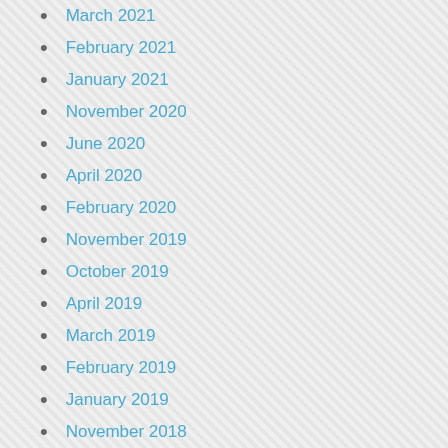March 2021
February 2021
January 2021
November 2020
June 2020
April 2020
February 2020
November 2019
October 2019
April 2019
March 2019
February 2019
January 2019
November 2018
September 2018
May 2018
April 2018
February 2018
December 2017